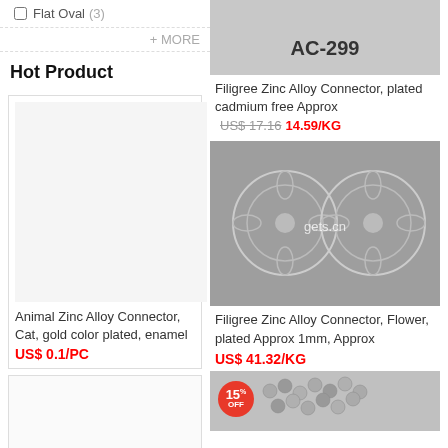Flat Oval (3)
+ MORE
Hot Product
[Figure (photo): Empty product card placeholder]
Animal Zinc Alloy Connector, Cat, gold color plated, enamel
US$ 0.1/PC
[Figure (photo): Second empty hot product card]
[Figure (photo): Product image showing AC-299 filigree zinc alloy connector, top of image cut off]
Filigree Zinc Alloy Connector, plated cadmium free Approx
US$ 17.16   14.59/KG
[Figure (photo): Filigree Zinc Alloy Connector, Flower shaped, two circular connectors on grey background with gets.cn watermark]
Filigree Zinc Alloy Connector, Flower, plated Approx 1mm, Approx
US$ 41.32/KG
[Figure (photo): Partially visible product image at bottom with 15% OFF badge]